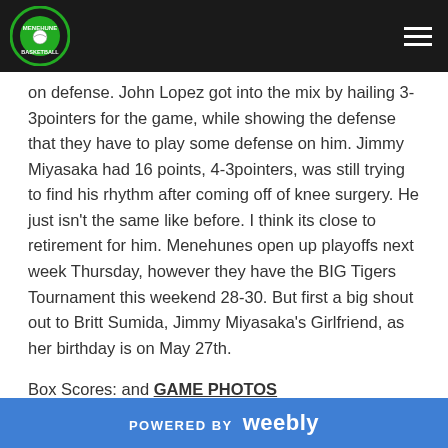Menehune Basketball logo and navigation
on defense. John Lopez got into the mix by hailing 3-3pointers for the game, while showing the defense that they have to play some defense on him. Jimmy Miyasaka had 16 points, 4-3pointers, was still trying to find his rhythm after coming off of knee surgery. He just isn't the same like before. I think its close to retirement for him. Menehunes open up playoffs next week Thursday, however they have the BIG Tigers Tournament this weekend 28-30. But first a big shout out to Britt Sumida, Jimmy Miyasaka's Girlfriend, as her birthday is on May 27th.
Box Scores: and GAME PHOTOS
Ryan Lee 8points (2-3pointers), Pierre Recinto 21 points
POWERED BY weebly